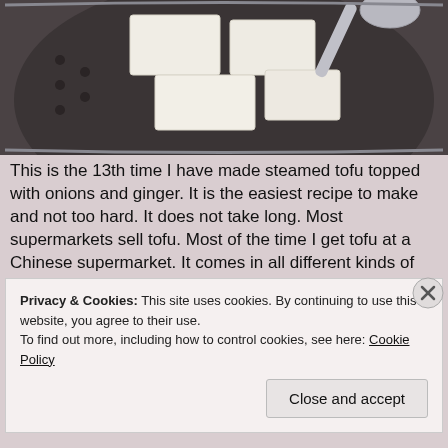[Figure (photo): Photo of tofu pieces in a metal steamer basket with a spoon visible at top right]
This is the 13th time I have made steamed tofu topped with onions and ginger. It is the easiest recipe to make and not too hard. It does not take long. Most supermarkets sell tofu. Most of the time I get tofu at a Chinese supermarket. It comes in all different kinds of tofu texture. I decided to use firm tofu. Firm tofu are easier to cut. Using soft or medium tofu can break easily when you cut it too hard.
This is the healthiest dish you can make. Steaming tofu
Privacy & Cookies: This site uses cookies. By continuing to use this website, you agree to their use.
To find out more, including how to control cookies, see here: Cookie Policy
Close and accept